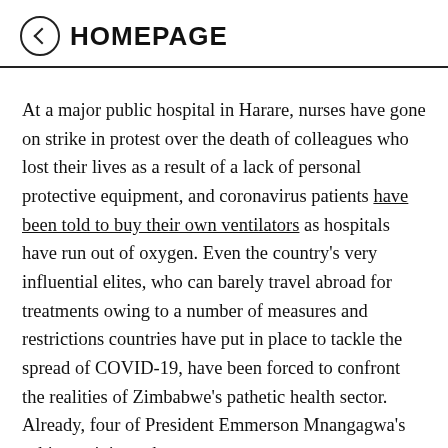HOMEPAGE
At a major public hospital in Harare, nurses have gone on strike in protest over the death of colleagues who lost their lives as a result of a lack of personal protective equipment, and coronavirus patients have been told to buy their own ventilators as hospitals have run out of oxygen. Even the country's very influential elites, who can barely travel abroad for treatments owing to a number of measures and restrictions countries have put in place to tackle the spread of COVID-19, have been forced to confront the realities of Zimbabwe's pathetic health sector. Already, four of President Emmerson Mnangagwa's cabinet ministers have